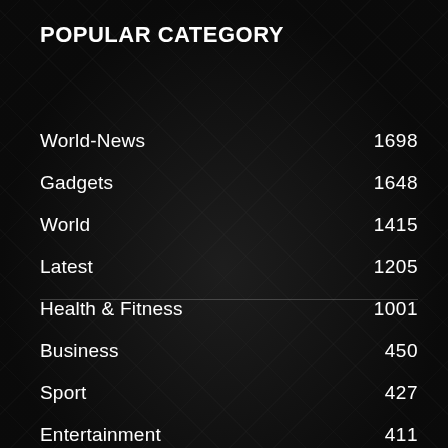POPULAR CATEGORY
World-News    1698
Gadgets    1648
World    1415
Latest    1205
Health & Fitness    1001
Business    450
Sport    427
Entertainment    411